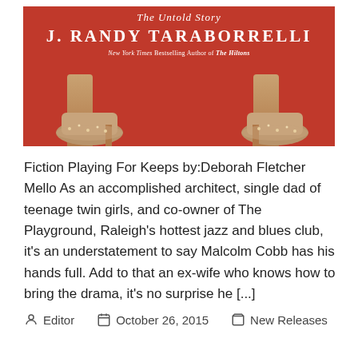[Figure (illustration): Book cover with red background, text 'The Untold Story', author name 'J. RANDY TARABORRELLI', subtitle 'New York Times Bestselling Author of The Hiltons', and image of legs wearing high heels]
Fiction Playing For Keeps by:Deborah Fletcher Mello As an accomplished architect, single dad of teenage twin girls, and co-owner of The Playground, Raleigh's hottest jazz and blues club, it's an understatement to say Malcolm Cobb has his hands full. Add to that an ex-wife who knows how to bring the drama, it's no surprise he [...]
Editor   October 26, 2015   New Releases